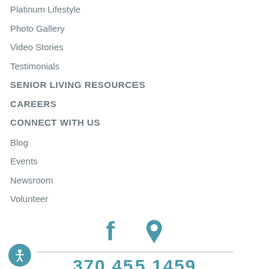Platinum Lifestyle
Photo Gallery
Video Stories
Testimonials
SENIOR LIVING RESOURCES
CAREERS
CONNECT WITH US
Blog
Events
Newsroom
Volunteer
[Figure (illustration): Social media icons: Facebook (f) and location pin icon, in teal color]
370.455.1459